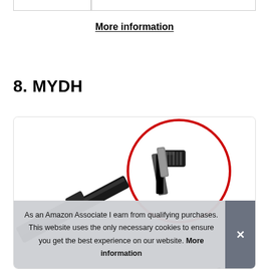|  |
More information
8. MYDH
[Figure (photo): Product photo of a wiper blade connector/arm with a red circular callout highlighting the connector detail, shown against a white background inside a rounded card.]
As an Amazon Associate I earn from qualifying purchases. This website uses the only necessary cookies to ensure you get the best experience on our website. More information